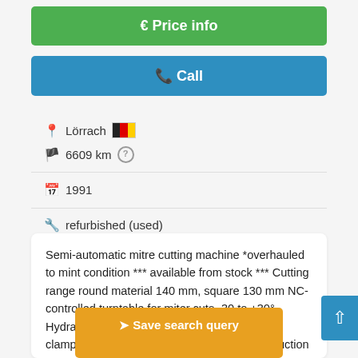€ Price info
✆ Call
Lörrach 🇩🇪
6609 km ?
1991
refurbished (used)
Semi-automatic mitre cutting machine *overhauled to mint condition *** available from stock *** Cutting range round material 140 mm, square 130 mm NC-controlled turntable for miter cuts -30 to +30° Hydraulic workpiece clamping with long-stroke clamping cylinder and Clamping pressure reduction system "Omnipress" Hydraulic saw blade feed, variable adjustable NEW SIEMENS touch panel with EASYCUT software package Nobvi Optionally with NC length stop
Save search query